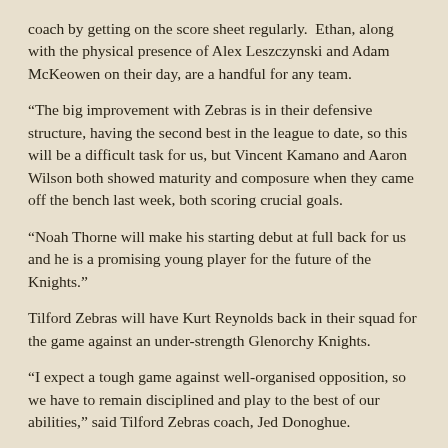coach by getting on the score sheet regularly. Ethan, along with the physical presence of Alex Leszczynski and Adam McKeowen on their day, are a handful for any team.
“The big improvement with Zebras is in their defensive structure, having the second best in the league to date, so this will be a difficult task for us, but Vincent Kamano and Aaron Wilson both showed maturity and composure when they came off the bench last week, both scoring crucial goals.
“Noah Thorne will make his starting debut at full back for us and he is a promising young player for the future of the Knights.”
Tilford Zebras will have Kurt Reynolds back in their squad for the game against an under-strength Glenorchy Knights.
“I expect a tough game against well-organised opposition, so we have to remain disciplined and play to the best of our abilities,” said Tilford Zebras coach, Jed Donoghue.